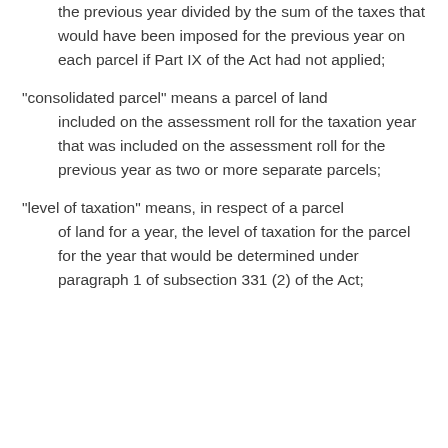the previous year divided by the sum of the taxes that would have been imposed for the previous year on each parcel if Part IX of the Act had not applied;
“consolidated parcel” means a parcel of land included on the assessment roll for the taxation year that was included on the assessment roll for the previous year as two or more separate parcels;
“level of taxation” means, in respect of a parcel of land for a year, the level of taxation for the parcel for the year that would be determined under paragraph 1 of subsection 331 (2) of the Act;